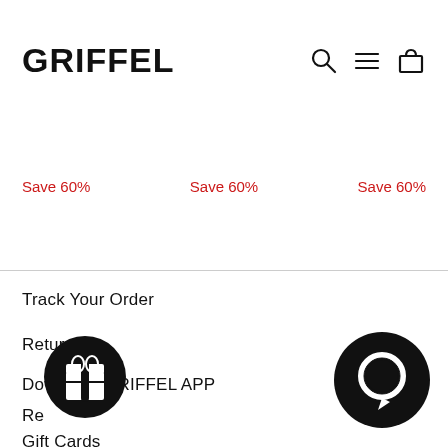GRIFFEL
Save 60%
Save 60%
Save 60%
Track Your Order
Returns
Download GRIFFEL APP
Rewards
Gift Cards